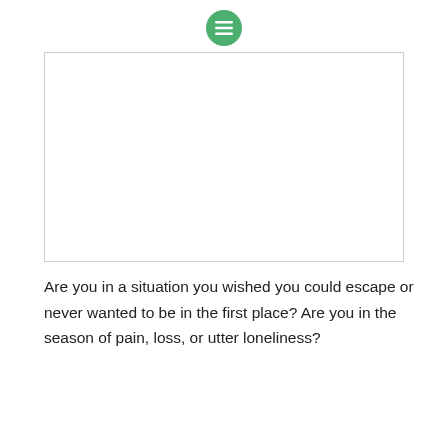[Figure (logo): Green circular icon with three horizontal white lines (hamburger/menu icon style)]
[Figure (photo): Large white/blank rectangular image placeholder with thin grey border]
Are you in a situation you wished you could escape or never wanted to be in the first place? Are you in the season of pain, loss, or utter loneliness?